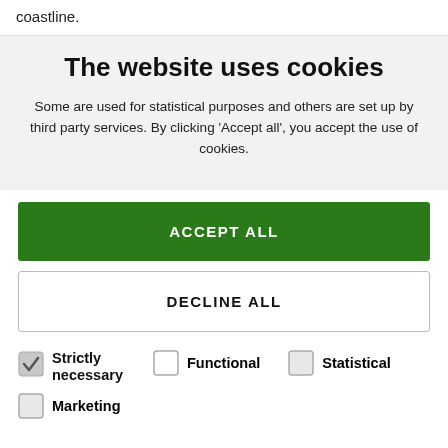coastline.
The website uses cookies
Some are used for statistical purposes and others are set up by third party services. By clicking ‘Accept all’, you accept the use of cookies.
ACCEPT ALL
DECLINE ALL
Strictly necessary
Functional
Statistical
Marketing
SHOW DETAILS